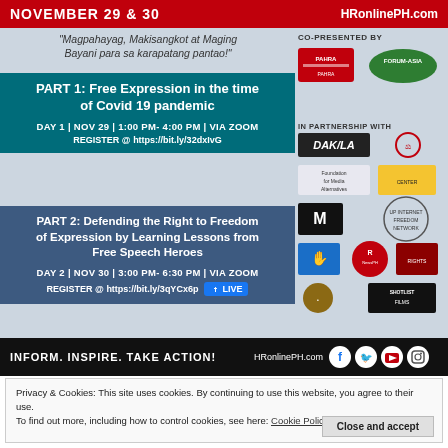NOVEMBER 29 & 30   HRonlinePH.com
"Magpahayag, Makisangkot at Maging Bayani para sa karapatang pantao!"
CO-PRESENTED BY
[Figure (logo): PAHRA logo and FORUM-ASIA logo]
IN PARTNERSHIP WITH
[Figure (logo): DAKILA logo, Foundation for Media Alternatives logo, and other partner logos]
PART 1: Free Expression in the time of Covid 19 pandemic
DAY 1 | NOV 29 | 1:00 PM- 4:00 PM | VIA ZOOM
REGISTER @ https://bit.ly/32dxIvG
PART 2: Defending the Right to Freedom of Expression by Learning Lessons from Free Speech Heroes
DAY 2 | NOV 30 | 3:00 PM- 6:30 PM | VIA ZOOM
REGISTER @ https://bit.ly/3qYCx6p  LIVE
INFORM. INSPIRE. TAKE ACTION!   HRonlinePH.com
Privacy & Cookies: This site uses cookies. By continuing to use this website, you agree to their use.
To find out more, including how to control cookies, see here: Cookie Policy
Close and accept